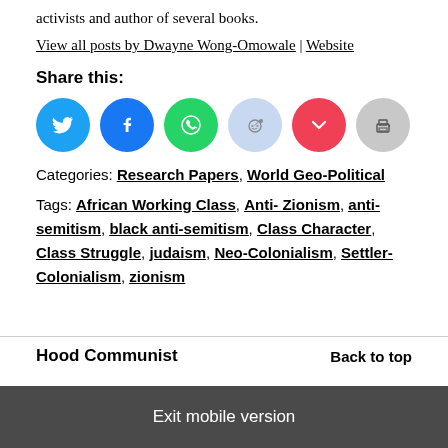activists and author of several books.
View all posts by Dwayne Wong-Omowale | Website
Share this:
[Figure (other): Social share buttons: Twitter, Facebook, WhatsApp, Reddit, Pocket, Print]
Categories: Research Papers, World Geo-Political
Tags: African Working Class, Anti- Zionism, anti-semitism, black anti-semitism, Class Character, Class Struggle, judaism, Neo-Colonialism, Settler-Colonialism, zionism
Hood Communist   Back to top
Exit mobile version